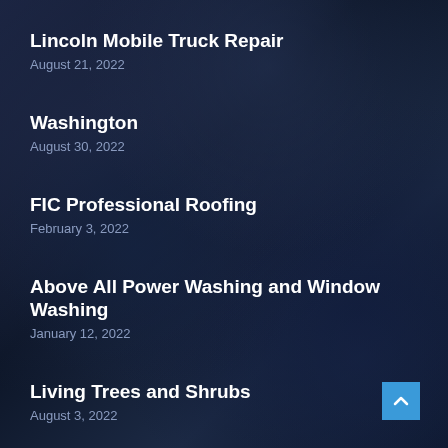Lincoln Mobile Truck Repair
August 21, 2022
Washington
August 30, 2022
FIC Professional Roofing
February 3, 2022
Above All Power Washing and Window Washing
January 12, 2022
Living Trees and Shrubs
August 3, 2022